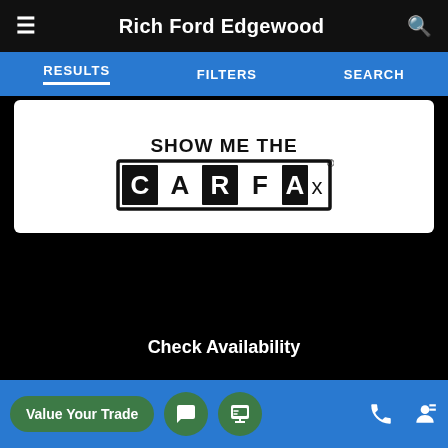Rich Ford Edgewood
RESULTS   FILTERS   SEARCH
[Figure (logo): SHOW ME THE CARFAX logo — bold black text 'SHOW ME THE' above, with 'CARFAX' in large block letters on a bordered rectangular badge with registered trademark symbol]
Check Availability
Do I Qualify?
Used 2017 Ford
Value Your Trade